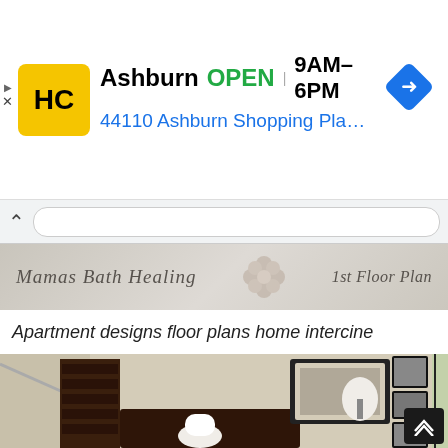[Figure (screenshot): Mobile advertisement banner for HC store in Ashburn showing logo, OPEN status, hours 9AM-6PM, address 44110 Ashburn Shopping Plaza 190, and navigation arrow icon]
[Figure (screenshot): Mobile browser search/navigation bar with up chevron and address field]
[Figure (illustration): Decorative script header reading 'Mamas Bath Healing' with flower ornament and '1st Floor Plan' on right, with muted beige/gray background]
Apartment designs floor plans home intercine
[Figure (photo): Interior home office scene with dark wood bookcase and desk, white chair, framed artwork on walls, lamp, staircase railing, and black-and-white photos on right wall]